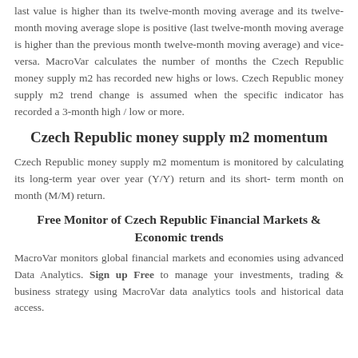last value is higher than its twelve-month moving average and its twelve-month moving average slope is positive (last twelve-month moving average is higher than the previous month twelve-month moving average) and vice-versa. MacroVar calculates the number of months the Czech Republic money supply m2 has recorded new highs or lows. Czech Republic money supply m2 trend change is assumed when the specific indicator has recorded a 3-month high / low or more.
Czech Republic money supply m2 momentum
Czech Republic money supply m2 momentum is monitored by calculating its long-term year over year (Y/Y) return and its short-term month on month (M/M) return.
Free Monitor of Czech Republic Financial Markets & Economic trends
MacroVar monitors global financial markets and economies using advanced Data Analytics. Sign up Free to manage your investments, trading & business strategy using MacroVar data analytics tools and historical data access.